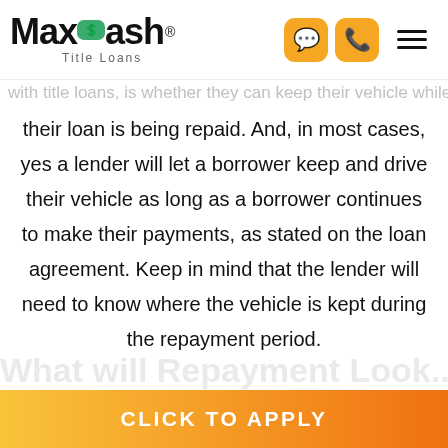[Figure (logo): MaxCash Title Loans logo with green icon, black bold text, and navigation icons (chat, phone, hamburger menu) on the right]
with title loans, is whether they can keep their vehicle while
their loan is being repaid. And, in most cases, yes a lender will let a borrower keep and drive their vehicle as long as a borrower continues to make their payments, as stated on the loan agreement. Keep in mind that the lender will need to know where the vehicle is kept during the repayment period.
What will Repayment Look...
CLICK TO APPLY